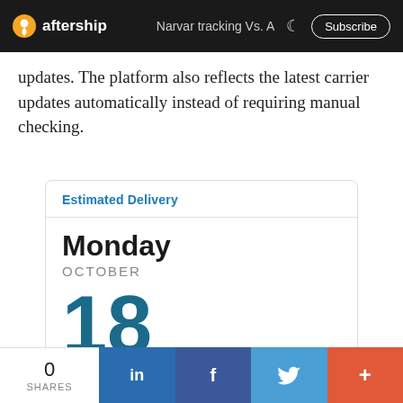aftership  Narvar tracking Vs. A  Subscribe
updates. The platform also reflects the latest carrier updates automatically instead of requiring manual checking.
[Figure (screenshot): Estimated delivery date card showing Monday, October 18]
0 SHARES  in  f  Twitter  +